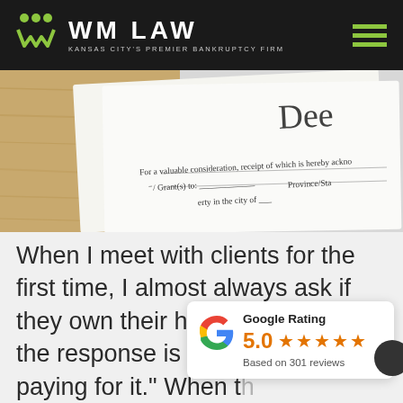WM LAW — KANSAS CITY'S PREMIER BANKRUPTCY FIRM
[Figure (photo): Close-up photo of a legal deed document on a clipboard with cork board background, showing text 'For a valuable consideration, receipt of which is hereby acknowledged, Grant(s) to: ___, property in the city of ___, Province/State']
When I meet with clients for the first time, I almost always ask if they own their house.  Sometimes the response is "No, I'm still paying for it."  When t[hey answer that way, I] explain to that [there's an important] difference...
[Figure (other): Google Rating widget showing 5.0 stars based on 301 reviews]